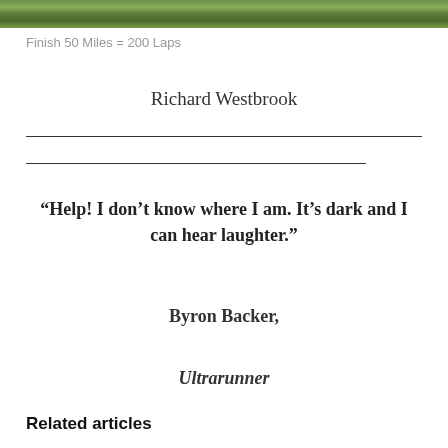[Figure (photo): Green outdoor/nature photo strip at the top of the page]
Finish 50 Miles = 200 Laps
Richard Westbrook
“Help! I don’t know where I am. It’s dark and I can hear laughter.”
Byron Backer,
Ultrarunner
Related articles